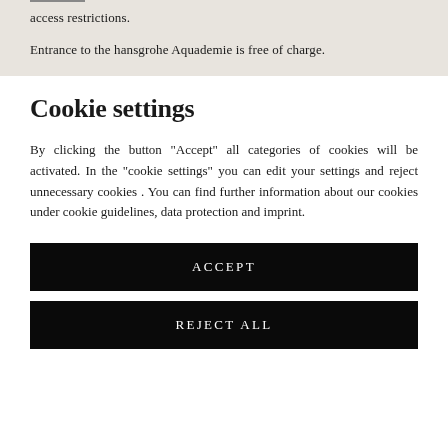access restrictions.
Entrance to the hansgrohe Aquademie is free of charge.
Cookie settings
By clicking the button "Accept" all categories of cookies will be activated. In the "cookie settings" you can edit your settings and reject unnecessary cookies . You can find further information about our cookies under cookie guidelines, data protection and imprint.
ACCEPT
REJECT ALL